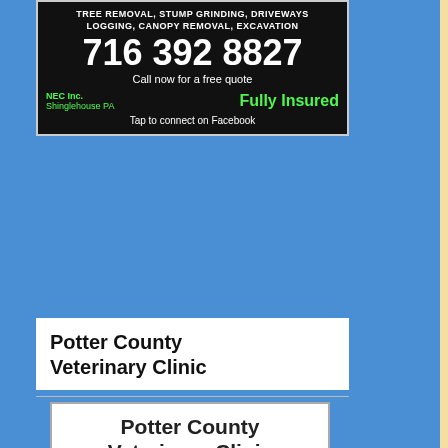[Figure (other): NEC Inc. tree removal advertisement on black background. Services: TREE REMOVAL, STUMP GRINDING, DRIVEWAYS, LOGGING, CANOPY REMOVAL, EXCAVATION. Phone: 716 392 8827. Call now for a free quote. NEC Inc. Shinglehouse PA. Fully Insured. Tap to connect on Facebook.]
Potter County Veterinary Clinic
[Figure (other): Potter County Veterinary Clinic advertisement. Lindsay Windsor, DVM. Phone: 814-274-0857. Address: 252 Rt. 6 W - Coudersport, PA 16915. facebook.com/PotterCVC. pocoveterinaclinic@gmail.com. Fax: 814-274-0721]